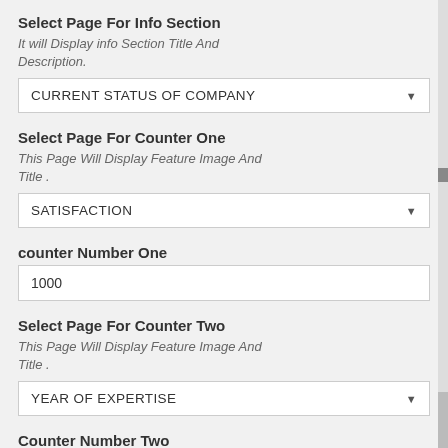Select Page For Info Section
It will Display info Section Title And Description.
CURRENT STATUS OF COMPANY
Select Page For Counter One
This Page Will Display Feature Image And Title .
SATISFACTION
counter Number One
1000
Select Page For Counter Two
This Page Will Display Feature Image And Title .
YEAR OF EXPERTISE
Counter Number Two
12